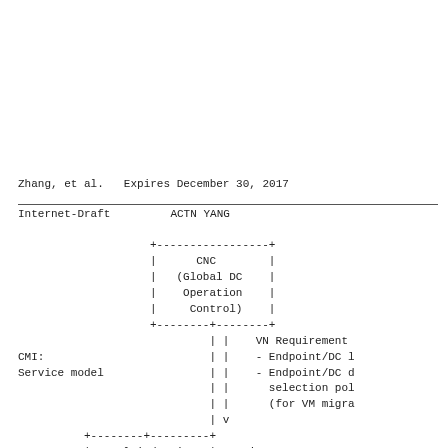Zhang, et al.          Expires December 30, 2017
Internet-Draft                      ACTN YANG
[Figure (schematic): Network architecture diagram showing CNC (Global DC Operation Control) box connected via CMI Service model lines and VN Requirements annotations, with Multi-domain and Service boxes at the bottom.]